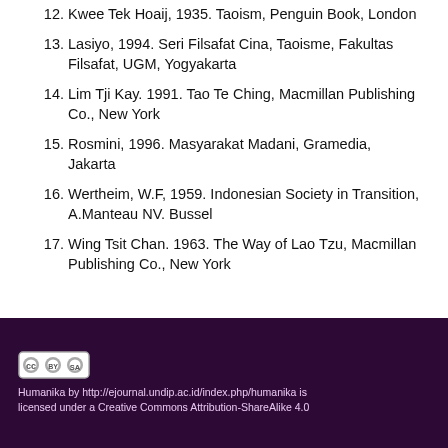12. Kwee Tek Hoaij, 1935. Taoism, Penguin Book, London
13. Lasiyo, 1994. Seri Filsafat Cina, Taoisme, Fakultas Filsafat, UGM, Yogyakarta
14. Lim Tji Kay. 1991. Tao Te Ching, Macmillan Publishing Co., New York
15. Rosmini, 1996. Masyarakat Madani, Gramedia, Jakarta
16. Wertheim, W.F, 1959. Indonesian Society in Transition, A.Manteau NV. Bussel
17. Wing Tsit Chan. 1963. The Way of Lao Tzu, Macmillan Publishing Co., New York
Humanika by http://ejournal.undip.ac.id/index.php/humanika is licensed under a Creative Commons Attribution-ShareAlike 4.0